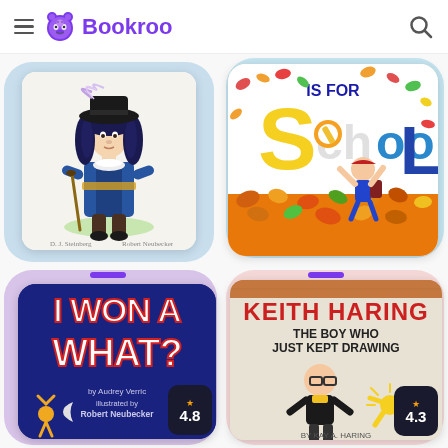Bookroo
[Figure (screenshot): Bookroo app screenshot showing four children's book covers in a 2x2 grid: a historical figure illustration, 'S is for School', 'I Won a What?', and 'Keith Haring: The Boy Who Just Kept Drawing']